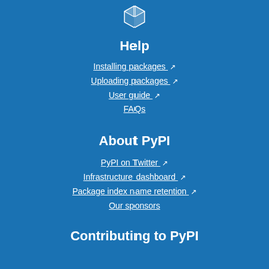[Figure (logo): PyPI white cube/box logo icon]
Help
Installing packages ↗
Uploading packages ↗
User guide ↗
FAQs
About PyPI
PyPI on Twitter ↗
Infrastructure dashboard ↗
Package index name retention ↗
Our sponsors
Contributing to PyPI